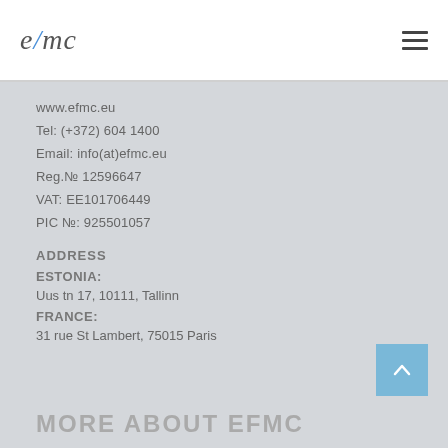efmc
www.efmc.eu
Tel: (+372) 604 1400
Email: info(at)efmc.eu
Reg.№ 12596647
VAT: EE101706449
PIC №: 925501057
ADDRESS
ESTONIA:
Uus tn 17, 10111, Tallinn
FRANCE:
31 rue St Lambert, 75015 Paris
MORE ABOUT EFMC